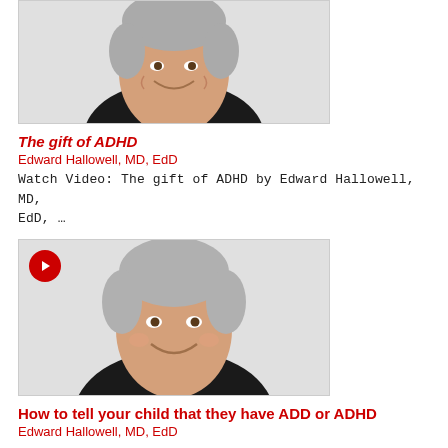[Figure (photo): Headshot of Edward Hallowell MD, EdD — smiling man with gray hair wearing a dark shirt, video thumbnail with no play button visible, cropped at top]
The gift of ADHD
Edward Hallowell, MD, EdD
Watch Video: The gift of ADHD by Edward Hallowell, MD, EdD, …
[Figure (photo): Headshot of Edward Hallowell MD, EdD — smiling man with gray hair wearing a dark shirt, video thumbnail with red circular play button in top-left corner]
How to tell your child that they have ADD or ADHD
Edward Hallowell, MD, EdD